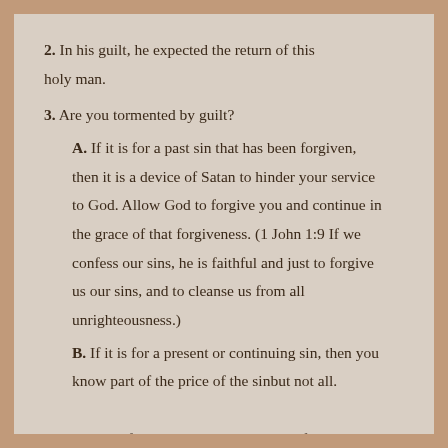2. In his guilt, he expected the return of this holy man.
3. Are you tormented by guilt?
A. If it is for a past sin that has been forgiven, then it is a device of Satan to hinder your service to God. Allow God to forgive you and continue in the grace of that forgiveness. (1 John 1:9 If we confess our sins, he is faithful and just to forgive us our sins, and to cleanse us from all unrighteousness.)
B. If it is for a present or continuing sin, then you know part of the price of the sinbut not all. Repent of your sin and allow God to forgive. The